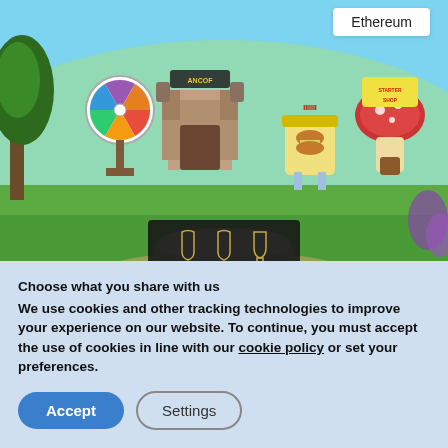[Figure (screenshot): Screenshot of Ethermon game banner showing a fantasy landscape with colorful game characters, buildings, and an 'Ethereum' badge in top right corner. Dark panel with trophy/badge icons at bottom center of image.]
Ethermon: A Beginner’s Guide
August 19, 2022
Choose what you share with us
We use cookies and other tracking technologies to improve your experience on our website. To continue, you must accept the use of cookies in line with our cookie policy or set your preferences.